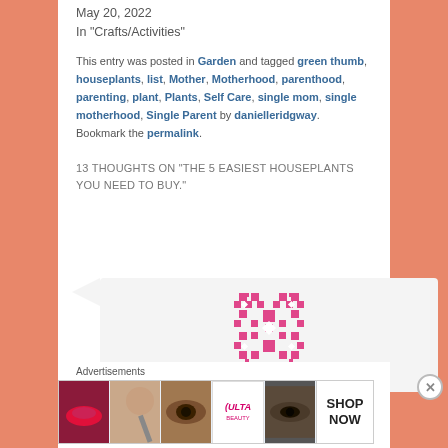May 20, 2022
In "Crafts/Activities"
This entry was posted in Garden and tagged green thumb, houseplants, list, Mother, Motherhood, parenthood, parenting, plant, Plants, Self Care, single mom, single motherhood, Single Parent by danielleridgway. Bookmark the permalink.
13 THOUGHTS ON "THE 5 EASIEST HOUSEPLANTS YOU NEED TO BUY."
[Figure (logo): Pink pixel art / QR-style avatar icon for commenter]
marionsimpon30 on July 12...
Advertisements
[Figure (photo): Ulta Beauty advertisement banner with makeup photos and SHOP NOW text]